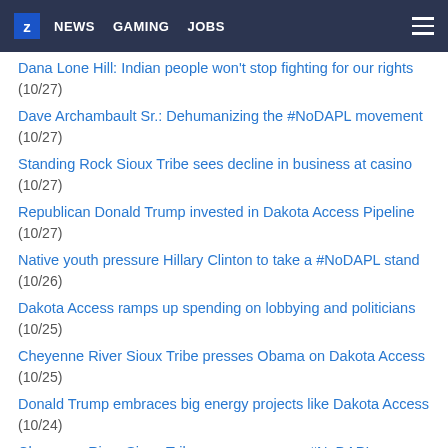Z NEWS GAMING JOBS
Dana Lone Hill: Indian people won't stop fighting for our rights (10/27)
Dave Archambault Sr.: Dehumanizing the #NoDAPL movement (10/27)
Standing Rock Sioux Tribe sees decline in business at casino (10/27)
Republican Donald Trump invested in Dakota Access Pipeline (10/27)
Native youth pressure Hillary Clinton to take a #NoDAPL stand (10/26)
Dakota Access ramps up spending on lobbying and politicians (10/25)
Cheyenne River Sioux Tribe presses Obama on Dakota Access (10/25)
Donald Trump embraces big energy projects like Dakota Access (10/24)
Cheyenne River Sioux Tribe can pursue own #NoDAPL